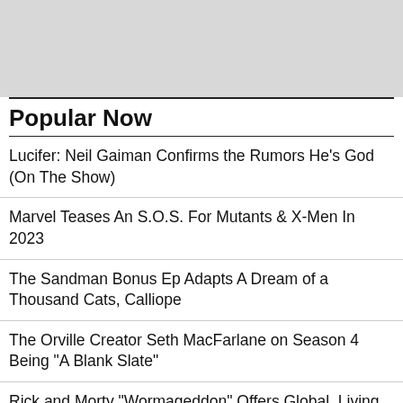[Figure (other): Gray advertisement placeholder banner at the top of the page]
Popular Now
Lucifer: Neil Gaiman Confirms the Rumors He's God (On The Show)
Marvel Teases An S.O.S. For Mutants & X-Men In 2023
The Sandman Bonus Ep Adapts A Dream of a Thousand Cats, Calliope
The Orville Creator Seth MacFarlane on Season 4 Being "A Blank Slate"
Rick and Morty "Wormageddon" Offers Global, Living Episode Experience
Diamond Comic Distributors Sues GameStop For Three Million Dollars